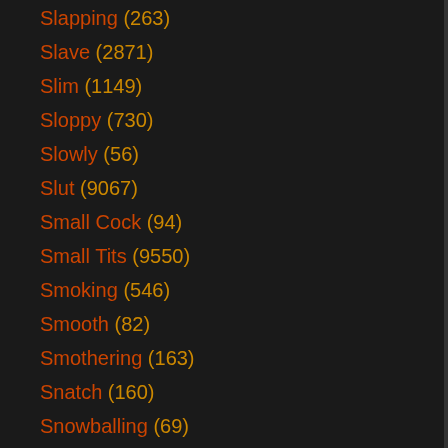Slapping (263)
Slave (2871)
Slim (1149)
Sloppy (730)
Slowly (56)
Slut (9067)
Small Cock (94)
Small Tits (9550)
Smoking (546)
Smooth (82)
Smothering (163)
Snatch (160)
Snowballing (69)
Soapy (59)
Soccer (73)
Socks (220)